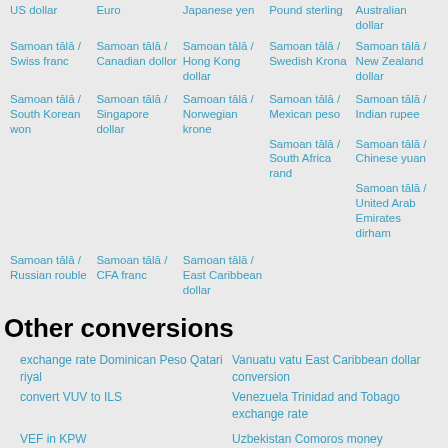Samoan tālā / Swiss franc
Samoan tālā / Canadian dollor
Samoan tālā / Hong Kong dollar
Samoan tālā / Swedish Krona
Samoan tālā / New Zealand dollar
Samoan tālā / South Korean won
Samoan tālā / Singapore dollar
Samoan tālā / Norwegian krone
Samoan tālā / Mexican peso
Samoan tālā / Indian rupee
Samoan tālā / South Africa rand
Samoan tālā / Chinese yuan
Samoan tālā / United Arab Emirates dirham
Samoan tālā / Russian rouble
Samoan tālā / CFA franc
Samoan tālā / East Caribbean dollar
Other conversions
exchange rate Dominican Peso Qatari riyal
Vanuatu vatu East Caribbean dollar conversion
convert VUV to ILS
Venezuela Trinidad and Tobago exchange rate
VEF in KPW
Uzbekistan Comoros money calculator